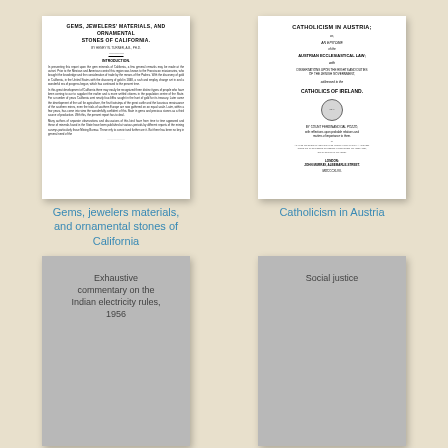[Figure (illustration): Book cover thumbnail for 'Gems, Jewelers Materials, and Ornamental Stones of California' showing title page with introduction text]
Gems, jewelers materials, and ornamental stones of California
[Figure (illustration): Book cover thumbnail for 'Catholicism in Austria' showing title page with subtitle and author Count Ferdinand Dal Pozzo]
Catholicism in Austria
[Figure (illustration): Gray book cover placeholder for 'Exhaustive commentary on the Indian electricity rules, 1956']
[Figure (illustration): Gray book cover placeholder for 'Social justice']